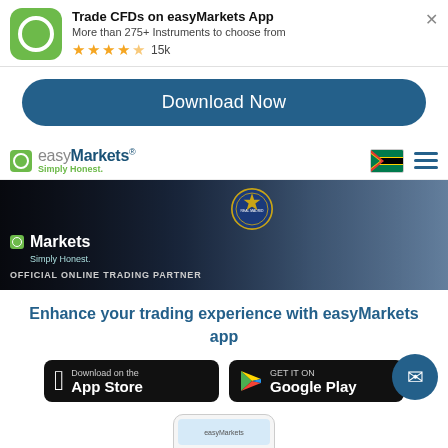[Figure (screenshot): easyMarkets app advertisement banner with logo, title 'Trade CFDs on easyMarkets App', subtitle 'More than 275+ Instruments to choose from', 4.5 star rating showing 15k reviews]
Trade CFDs on easyMarkets App
More than 275+ Instruments to choose from
15k
[Figure (screenshot): Download Now button - dark blue rounded rectangle]
Download Now
[Figure (logo): easyMarkets logo with green square icon and text 'Simply Honest.']
[Figure (photo): Hero banner showing easyMarkets as Official Online Trading Partner of Real Madrid, with soccer players in background]
Enhance your trading experience with easyMarkets app
[Figure (screenshot): Apple App Store download button - black rounded rectangle with Apple logo]
[Figure (screenshot): Google Play Store download button - black rounded rectangle with Google Play logo]
[Figure (screenshot): Partial phone screen preview at bottom of page]